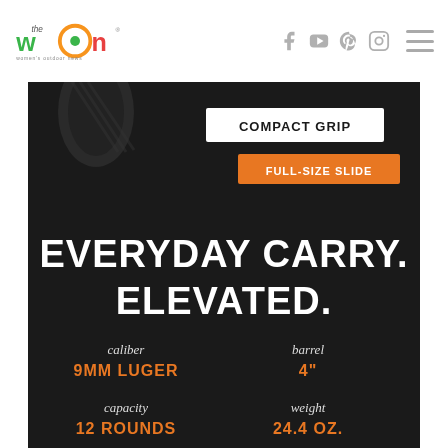[Figure (logo): The WON (Women's Outdoor News) logo with orange and green circular design]
[Figure (photo): Dark advertisement image for a firearm. Shows a gun grip at top left, with labels 'COMPACT GRIP' in white on dark banner and 'FULL-SIZE SLIDE' in white on orange banner. Large white bold text reads 'EVERYDAY CARRY. ELEVATED.' Below in italic text: caliber 9MM LUGER (orange), barrel 4" (orange), capacity 12 ROUNDS (orange), weight 24.4 OZ. (orange)]